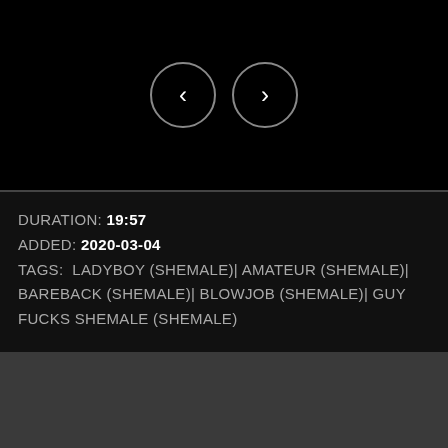[Figure (other): Navigation buttons: left arrow circle and right arrow circle on black background]
DURATION: 19:57
ADDED: 2020-03-04
TAGS: LADYBOY (SHEMALE)| AMATEUR (SHEMALE)| BAREBACK (SHEMALE)| BLOWJOB (SHEMALE)| GUY FUCKS SHEMALE (SHEMALE)